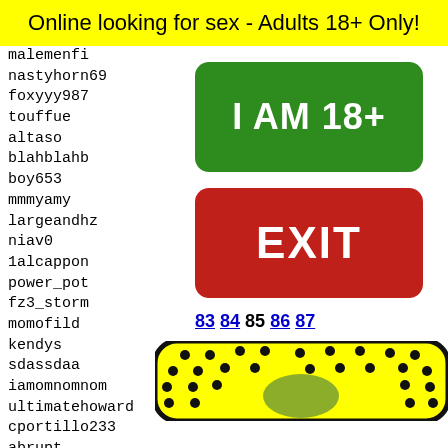Online looking for sex - Adults 18+ Only!
malemenfi
nastyhorn69
foxyyy987
touffue
altaso
blahblahb
boy653
mmmyamy
largeandhz
niav0
1alcappon
power_pot
fz3_storm
momofild
kendys
sdassdaa
iamomnomnom
ultimatehoward
cportillo233
abrupt
unknow
casius
baron_
lacrim
cenrea
[Figure (other): Green button saying I AM 18+]
[Figure (other): Red button saying EXIT]
83 84 85 86 87
[Figure (illustration): Snapchat-style ghost emoji on yellow background with black dots pattern]